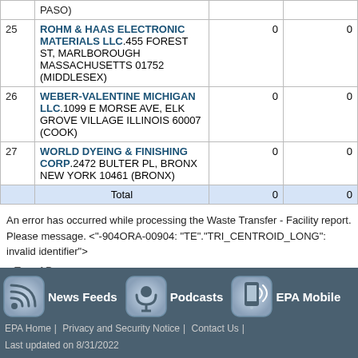| # | Facility | Col3 | Col4 |
| --- | --- | --- | --- |
| 25 | ROHM & HAAS ELECTRONIC MATERIALS LLC.455 FOREST ST, MARLBOROUGH MASSACHUSETTS 01752 (MIDDLESEX) | 0 | 0 |
| 26 | WEBER-VALENTINE MICHIGAN LLC.1099 E MORSE AVE, ELK GROVE VILLAGE ILLINOIS 60007 (COOK) | 0 | 0 |
| 27 | WORLD DYEING & FINISHING CORP.2472 BULTER PL, BRONX NEW YORK 10461 (BRONX) | 0 | 0 |
|  | Total | 0 | 0 |
An error has occurred while processing the Waste Transfer - Facility report. Please message. <"-904ORA-00904: "TE"."TRI_CENTROID_LONG": invalid identifier">
Top of Page
[Figure (infographic): EPA footer bar with News Feeds, Podcasts, and EPA Mobile icons, plus footer links: EPA Home | Privacy and Security Notice | Contact Us | Last updated on 8/31/2022]